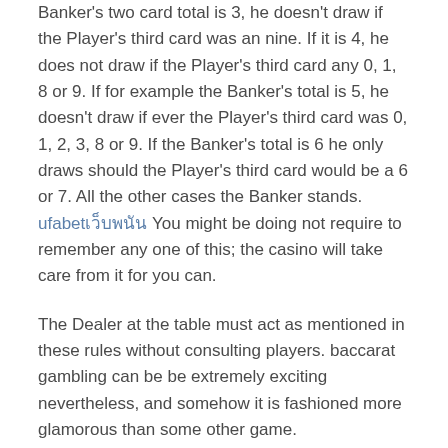Banker's two card total is 3, he doesn't draw if the Player's third card was an nine. If it is 4, he does not draw if the Player's third card any 0, 1, 8 or 9. If for example the Banker's total is 5, he doesn't draw if ever the Player's third card was 0, 1, 2, 3, 8 or 9. If the Banker's total is 6 he only draws should the Player's third card would be a 6 or 7. All the other cases the Banker stands. ufabetเว็บพนัน You might be doing not require to remember any one of this; the casino will take care from it for you can.
The Dealer at the table must act as mentioned in these rules without consulting players. baccarat gambling can be be extremely exciting nevertheless, and somehow it is fashioned more glamorous than some other game.
This article is wished to playing baccarat, having fascinating winning! Its a great game suited to both novice or pro, so lets consider how perform baccarat and win